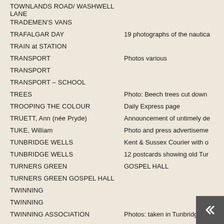TOWNLANDS ROAD/ WASHWELL LANE
TRADEMEN'S VANS
TRAFALGAR DAY | 19 photographs of the nautica
TRAIN at STATION
TRANSPORT | Photos various
TRANSPORT
TRANSPORT – SCHOOL
TREES | Photo: Beech trees cut down
TROOPING THE COLOUR | Daily Express page
TRUETT, Ann (née Pryde) | Announcement of untimely de
TUKE, William | Photo and press advertiseme
TUNBRIDGE WELLS | Kent & Sussex Courier with o
TUNBRIDGE WELLS | 12 postcards showing old Tur
TURNERS GREEN | GOSPEL HALL
TURNERS GREEN GOSPEL HALL
TWINNING
TWINNING
TWINNING ASSOCIATION | Photos: taken in Tunbridge W
TWINNING ASSOCIATION | Photographs taken in Tunbrid
TWINNING ASSOCIATION | Photos of the Aubers visit to V
TWINNING CHARTER | Documents in French and En
TWINNING CHARTER 2000 | Photo